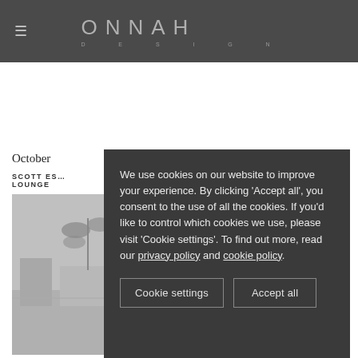ONNAH DESIGN
October
SCOTT ES... LOUNGE
[Figure (photo): Greyscale interior photo showing a lounge/living room scene with a plant and furniture]
We use cookies on our website to improve your experience. By clicking 'Accept all', you consent to the use of all the cookies. If you'd like to control which cookies we use, please visit 'Cookie settings'. To find out more, read our privacy policy and cookie policy.
Cookie settings    Accept all